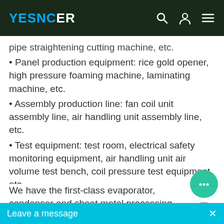YESNCER
pipe straightening cutting machine, etc.
• Panel production equipment: rice gold opener, high pressure foaming machine, laminating machine, etc.
• Assembly production line: fan coil unit assembly line, air handling unit assembly line, etc.
• Test equipment: test room, electrical safety monitoring equipment, air handling unit air volume test bench, coil pressure test equipment, etc.
We have the first-class evaporator, condenser and sheet metal processing equipment.
Self-developed cont